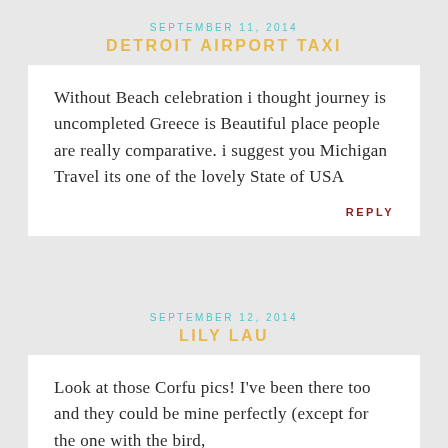SEPTEMBER 11, 2014
DETROIT AIRPORT TAXI
Without Beach celebration i thought journey is uncompleted Greece is Beautiful place people are really comparative. i suggest you Michigan Travel its one of the lovely State of USA
REPLY
SEPTEMBER 12, 2014
LILY LAU
Look at those Corfu pics! I've been there too and they could be mine perfectly (except for the one with the bird,